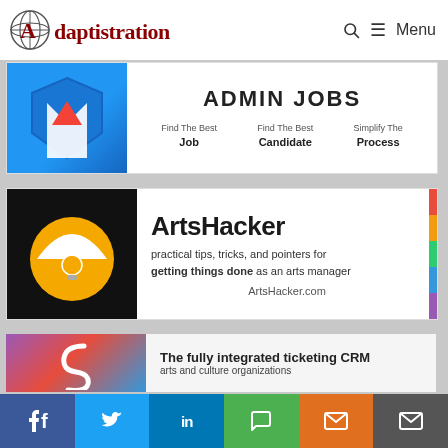Adaptistration — Menu
[Figure (screenshot): Admin Jobs banner ad with blue shield icon on left, ADMIN JOBS title, Find The Best Job, Find The Best Candidate, Simplify The Process]
[Figure (screenshot): ArtsHacker banner ad with black background and yellow circle logo on left, ArtsHacker title, practical tips tricks and pointers for getting things done as an arts manager, ArtsHacker.com]
[Figure (screenshot): Squarespace ticketing CRM banner ad, partially visible, The fully integrated ticketing CRM arts and culture organizations]
[Figure (screenshot): Social share bar: Facebook, Twitter, LinkedIn, SMS, Email, Email icons]